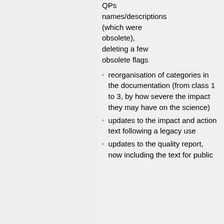QPs names/descriptions (which were obsolete), deleting a few obsolete flags
reorganisation of categories in the documentation (from class 1 to 3, by how severe the impact they may have on the science)
updates to the impact and action text following a legacy use
updates to the quality report, now including the text for public